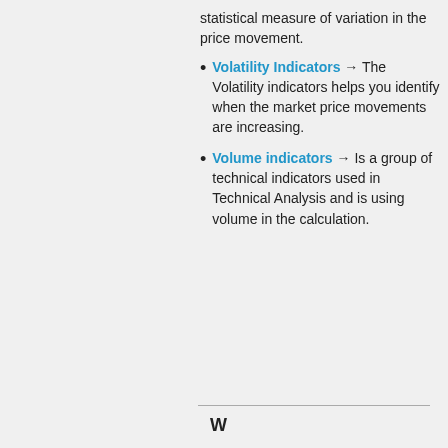statistical measure of variation in the price movement.
Volatility Indicators → The Volatility indicators helps you identify when the market price movements are increasing.
Volume indicators → Is a group of technical indicators used in Technical Analysis and is using volume in the calculation.
W